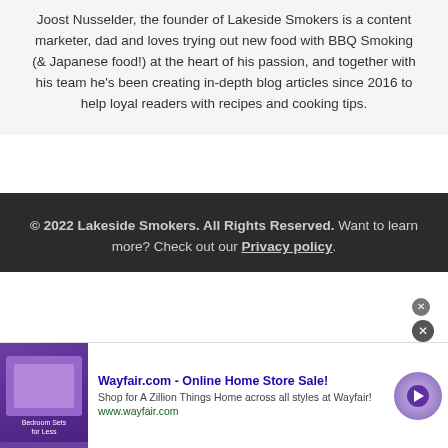Joost Nusselder, the founder of Lakeside Smokers is a content marketer, dad and loves trying out new food with BBQ Smoking (& Japanese food!) at the heart of his passion, and together with his team he's been creating in-depth blog articles since 2016 to help loyal readers with recipes and cooking tips.
© 2022 Lakeside Smokers. All Rights Reserved. Want to learn more? Check out our Privacy policy.
[Figure (other): Advertisement banner for Wayfair.com - Online Home Store Sale! with purple bedroom furniture image and arrow button]